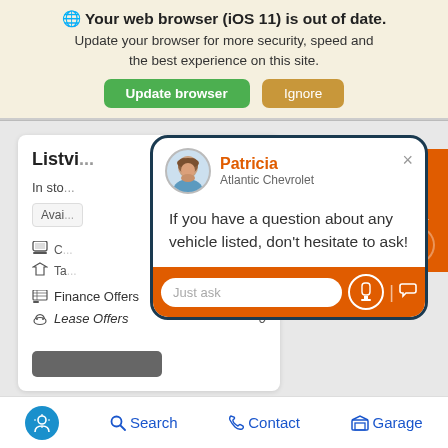[Figure (screenshot): Browser warning banner with globe icon, bold text 'Your web browser (iOS 11) is out of date.', subtitle text, and two buttons: green 'Update browser' and tan 'Ignore']
Your web browser (iOS 11) is out of date.
Update your browser for more security, speed and the best experience on this site.
[Figure (screenshot): Website listing page partially visible behind a chat popup showing Patricia from Atlantic Chevrolet with message 'If you have a question about any vehicle listed, don't hesitate to ask!' and a 'Just ask' input field. Right side shows orange Text Us button. Bottom shows navigation bar with Search, Contact, Garage.]
Patricia
Atlantic Chevrolet
If you have a question about any vehicle listed, don't hesitate to ask!
Listvi...
In sto...
Avai...
Finance Offers	1
Lease Offers	0
Just ask
Text Us
Search  Contact  Garage